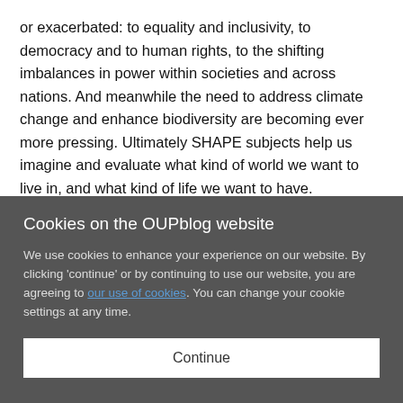or exacerbated: to equality and inclusivity, to democracy and to human rights, to the shifting imbalances in power within societies and across nations. And meanwhile the need to address climate change and enhance biodiversity are becoming ever more pressing. Ultimately SHAPE subjects help us imagine and evaluate what kind of world we want to live in, and what kind of life we want to have.
The pandemic has undoubtedly had a profound impact on universities and the student experience. Why should prospective students
Cookies on the OUPblog website
We use cookies to enhance your experience on our website. By clicking 'continue' or by continuing to use our website, you are agreeing to our use of cookies. You can change your cookie settings at any time.
Continue